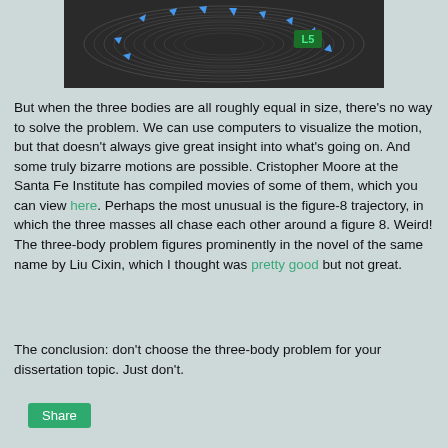[Figure (photo): Dark spiral/orbital motion visualization with blue arrows indicating direction around L5 Lagrange point, labeled 'L5' in green text, showing circular trajectory patterns on dark background]
But when the three bodies are all roughly equal in size, there's no way to solve the problem. We can use computers to visualize the motion, but that doesn't always give great insight into what's going on. And some truly bizarre motions are possible. Cristopher Moore at the Santa Fe Institute has compiled movies of some of them, which you can view here. Perhaps the most unusual is the figure-8 trajectory, in which the three masses all chase each other around a figure 8. Weird! The three-body problem figures prominently in the novel of the same name by Liu Cixin, which I thought was pretty good but not great.
The conclusion: don't choose the three-body problem for your dissertation topic. Just don't.
[Figure (other): Share button — green rounded rectangle button with white text 'Share']